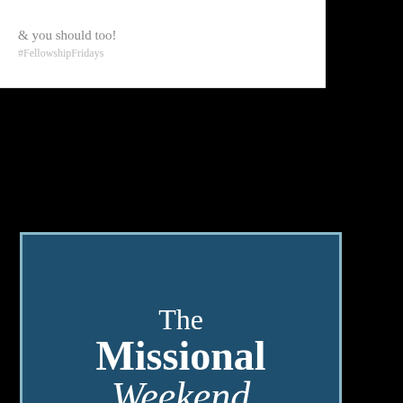[Figure (illustration): Top image partial: white background with grey text '& you should too!' and '#FellowshipFridays' below]
[Figure (illustration): The Missional Weekend Link-up Party! — dark teal/navy square badge with white serif text and decorative script for 'Weekend', with a light border]
[Figure (illustration): Think Tank Thursday — aqua/teal textured background with cursive 'Think', bold black 'TANK', serif 'Thursday', and smaller italic 'To Share and Be Inspired']